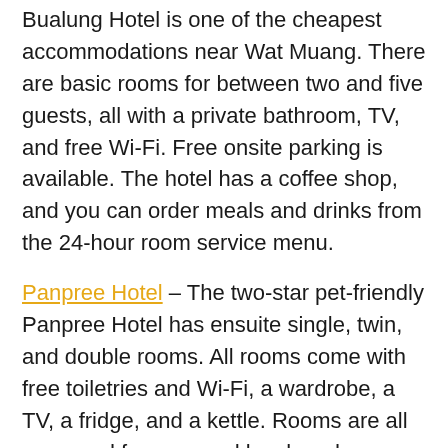Bualung Hotel is one of the cheapest accommodations near Wat Muang. There are basic rooms for between two and five guests, all with a private bathroom, TV, and free Wi-Fi. Free onsite parking is available. The hotel has a coffee shop, and you can order meals and drinks from the 24-hour room service menu.
Panpree Hotel – The two-star pet-friendly Panpree Hotel has ensuite single, twin, and double rooms. All rooms come with free toiletries and Wi-Fi, a wardrobe, a TV, a fridge, and a kettle. Rooms are all accessed from ground level, and you can step outside the front door to enjoy the leafy garden. There is plenty of onsite parking.
Smile Resort – Located around a five-minute drive from Wat Muang, Smile Resort is one of the closest places to stay near the temple. Prices are reasonable, and rooms are spacious. Each room has an ensuite bathroom, TV, tea and coffee making facilities, free Wi-Fi, and a desk. There are rooms for two and four. The garden is a pleasant place to relax, and